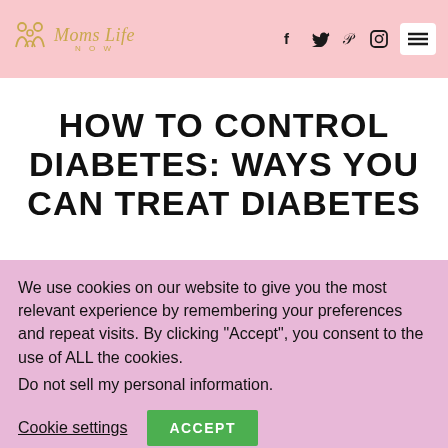Moms Life Now
HOW TO CONTROL DIABETES: WAYS YOU CAN TREAT DIABETES
We use cookies on our website to give you the most relevant experience by remembering your preferences and repeat visits. By clicking "Accept", you consent to the use of ALL the cookies.
Do not sell my personal information.
Cookie settings  ACCEPT